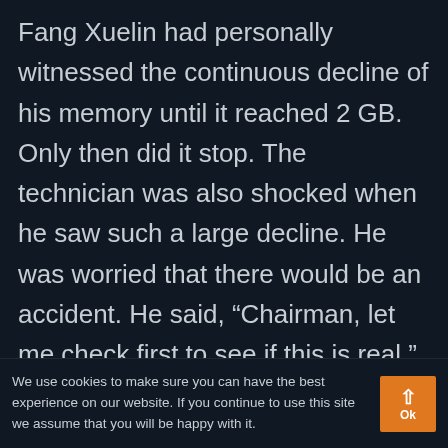Fang Xuelin had personally witnessed the continuous decline of his memory until it reached 2 GB. Only then did it stop. The technician was also shocked when he saw such a large decline. He was worried that there would be an accident. He said, “Chairman, let me check first to see if this is real.”

Fang Xuelin also felt that it was
We use cookies to make sure you can have the best experience on our website. If you continue to use this site we assume that you will be happy with it.